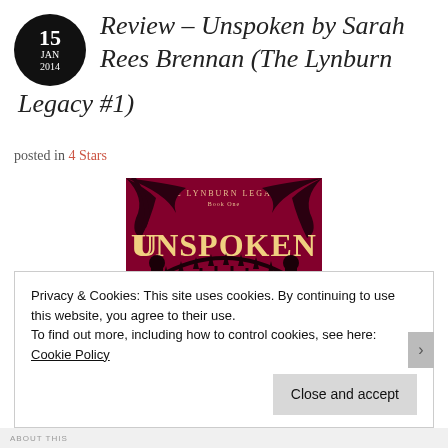Review – Unspoken by Sarah Rees Brennan (The Lynburn Legacy #1)
posted in 4 Stars
[Figure (illustration): Book cover of 'Unspoken' by Sarah Rees Brennan, The Lynburn Legacy Book One. Dark red/crimson background with ornate black iron gate silhouette and decorative vine/branch motifs. The word UNSPOKEN in large cream/gold letters at center.]
Privacy & Cookies: This site uses cookies. By continuing to use this website, you agree to their use.
To find out more, including how to control cookies, see here: Cookie Policy
Close and accept